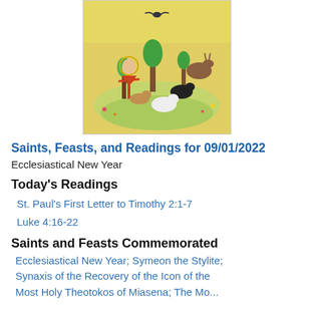[Figure (illustration): Medieval-style icon painting depicting a holy figure with animals including deer, goats, dogs, and other creatures in a nature setting with trees and foliage, on a yellow-gold background.]
Saints, Feasts, and Readings for 09/01/2022
Ecclesiastical New Year
Today's Readings
St. Paul's First Letter to Timothy 2:1-7
Luke 4:16-22
Saints and Feasts Commemorated
Ecclesiastical New Year; Symeon the Stylite; Synaxis of the Recovery of the Icon of the Most Holy Theotokos of Miasena; The More...